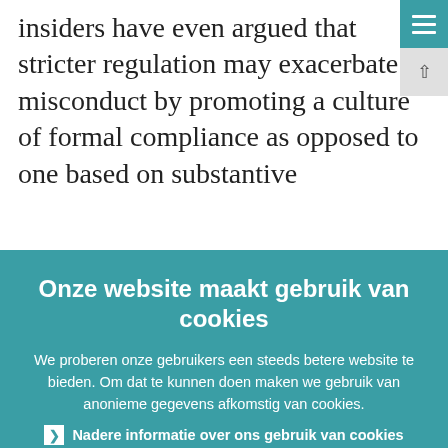insiders have even argued that stricter regulation may exacerbate misconduct by promoting a culture of formal compliance as opposed to one based on substantive
Onze website maakt gebruik van cookies
We proberen onze gebruikers een steeds betere website te bieden. Om dat te kunnen doen maken we gebruik van anonieme gegevens afkomstig van cookies.
Nadere informatie over ons gebruik van cookies
Ik heb het begrepen en accepteer het gebruik van cookies
Ik weiger cookies